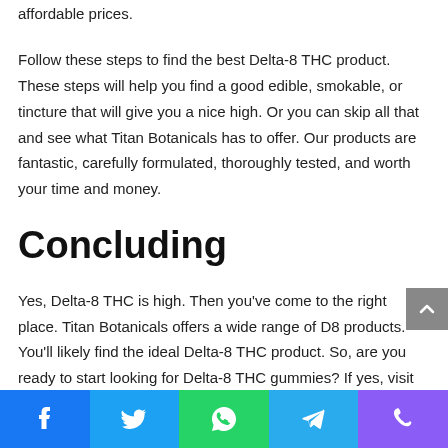affordable prices.
Follow these steps to find the best Delta-8 THC product. These steps will help you find a good edible, smokable, or tincture that will give you a nice high. Or you can skip all that and see what Titan Botanicals has to offer. Our products are fantastic, carefully formulated, thoroughly tested, and worth your time and money.
Concluding
Yes, Delta-8 THC is high. Then you've come to the right place. Titan Botanicals offers a wide range of D8 products. You'll likely find the ideal Delta-8 THC product. So, are you ready to start looking for Delta-8 THC gummies? If yes, visit our store! If you're still unsure, contact us. Please contact us if you ha any questions or concerns. We'll be happy to assist you in any
Facebook Twitter WhatsApp Telegram Phone